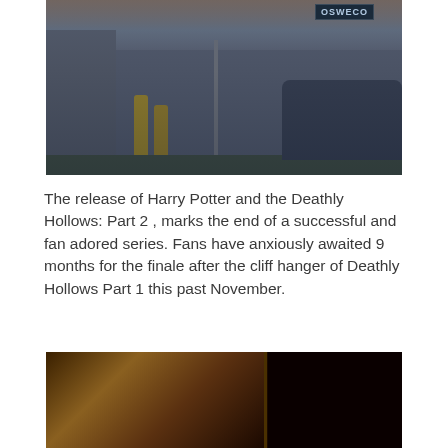[Figure (photo): Outdoor street scene at dusk showing people gathered on a sidewalk near a building with an 'OSWEGO' sign visible. Yellow bollards are visible, and a car is parked on the right side.]
The release of Harry Potter and the Deathly Hollows: Part 2 , marks the end of a successful and fan adored series. Fans have anxiously awaited 9 months for the finale after the cliff hanger of Deathly Hollows Part 1 this past November.
[Figure (photo): Partially visible photo at the bottom of the page, appearing dark with warm brown/orange tones on the left and very dark on the right.]